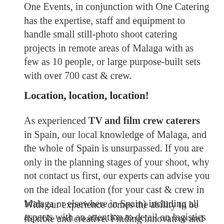One Events, in conjunction with One Catering has the expertise, staff and equipment to handle small still-photo shoot catering projects in remote areas of Malaga with as few as 10 people, or large purpose-built sets with over 700 cast & crew.
Location, location, location!
As experienced TV and film crew caterers in Spain, our local knowledge of Malaga, and the whole of Spain is unsurpassed. If you are only in the planning stages of your shoot, why not contact us first, our experts can advise you on the ideal location (for your cast & crew in Malaga or elsewhere in Spain) including all aspects with an attention to detail on logistics and budget.
With our experience comes the ability to be flexible and creative. Finding innovative and cost-sensitive means to deliver the highest quality meals to your cast and crew in Malaga is our top priority.